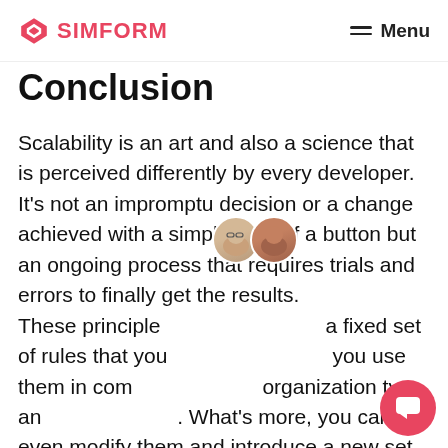SIMFORM  Menu
Conclusion
Scalability is an art and also a science that is perceived differently by every developer. It's not an impromptu decision or a change achieved with a simple click of a button but an ongoing process that requires trials and errors to finally get the results. These principles are not a fixed set of rules that you must follow but guidelines you use them in combination based on your organization type and requirements. What's more, you can even modify them and introduce a new set of principles to make lives of developers a little better.
[Figure (infographic): Chat popup with two avatar photos and text 'Got any questions? We're happy to help. :)' with a close button, and a red circular chat FAB button in the bottom right corner.]